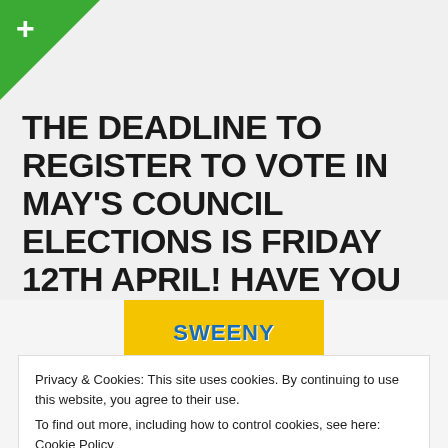[Figure (logo): Green corner triangle with white plus sign in top-left]
THE DEADLINE TO REGISTER TO VOTE IN MAY'S COUNCIL ELECTIONS IS FRIDAY 12TH APRIL! HAVE YOU REGISTERED, YET?
[Figure (illustration): Partial view of a yellow comic/cartoon book cover with text SWEENY and colorful cartoon characters]
Privacy & Cookies: This site uses cookies. By continuing to use this website, you agree to their use.
To find out more, including how to control cookies, see here: Cookie Policy